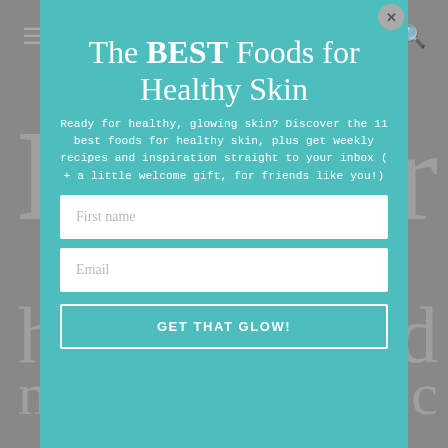[Figure (screenshot): Teal/turquoise popup modal overlay on a greyed-out webpage background. The popup contains a newsletter signup form with title, body text, two input fields (First name, Email), and a submit button.]
The BEST Foods for Healthy Skin
Ready for healthy, glowing skin? Discover the 11 best foods for healthy skin, plus get weekly recipes and inspiration straight to your inbox ( + a little welcome gift, for friends like you!)
First name
Email
GET THAT GLOW!